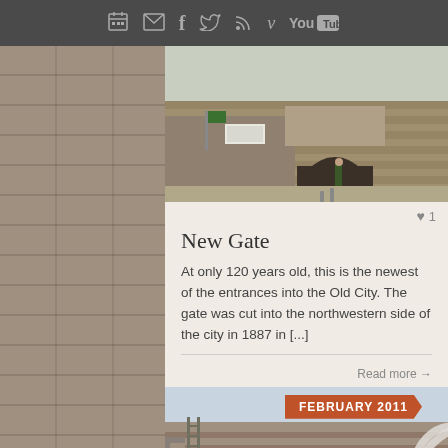Navigation bar with icons: contact card, email, Facebook, Twitter, RSS, Vimeo, YouTube
[Figure (photo): Photo of the New Gate entrance in Jerusalem's Old City, showing a stone archway and figures walking through]
♥ 1
New Gate
At only 120 years old, this is the newest of the entrances into the Old City. The gate was cut into the northwestern side of the city in 1887 in [...]
Read more →
FEBRUARY 2011
[Figure (photo): Photo of Zion Gate or similar Jerusalem Old City gate, showing large stone walls and an arched entrance with steps visible on the left side]